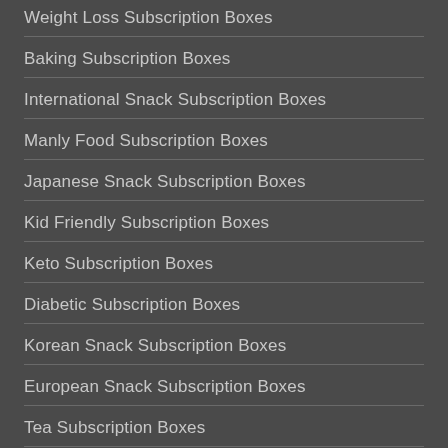Weight Loss Subscription Boxes
Baking Subscription Boxes
International Snack Subscription Boxes
Manly Food Subscription Boxes
Japanese Snack Subscription Boxes
Kid Friendly Subscription Boxes
Keto Subscription Boxes
Diabetic Subscription Boxes
Korean Snack Subscription Boxes
European Snack Subscription Boxes
Tea Subscription Boxes